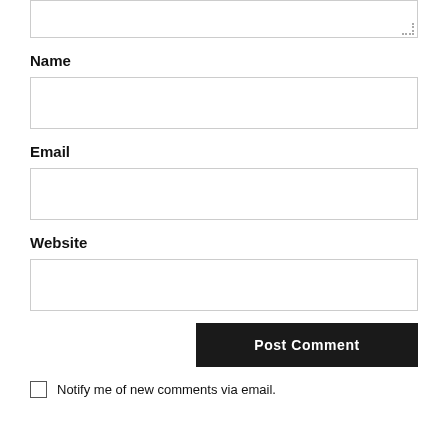[Figure (screenshot): Partial textarea input box at top of page with resize handle in bottom-right corner]
Name
[Figure (screenshot): Empty text input box for Name field]
Email
[Figure (screenshot): Empty text input box for Email field]
Website
[Figure (screenshot): Empty text input box for Website field]
[Figure (screenshot): Post Comment button, dark background with white bold text]
Notify me of new comments via email.